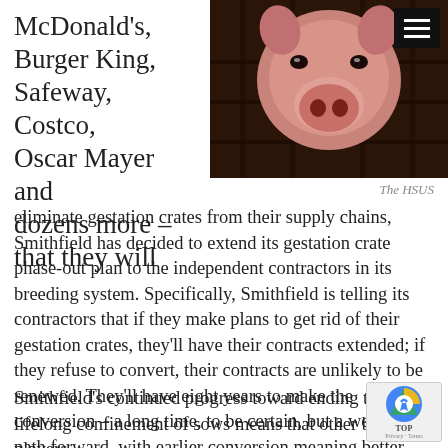McDonald's, Burger King, Safeway, Costco, Oscar Mayer and dozens more – that they will
[Figure (photo): Close-up photograph of a pig's snout/face viewed through what appears to be bars or slats of a gestation crate in a farm setting.]
The HSUS
eliminate gestation crates from their supply chains, Smithfield has decided to extend its gestation crate phase-out plan to the independent contractors in its breeding system. Specifically, Smithfield is telling its contractors that if they make plans to get rid of their gestation crates, they'll have their contracts extended; if they refuse to convert, their contracts are unlikely to be renewed. They'll have eight years to make the conversion – a long time, to be certain, but a welcome path forward, with earlier conversion meaning better contracts.
Smithfield's continued progress toward ending the lifelong confinement of sows means that other big players